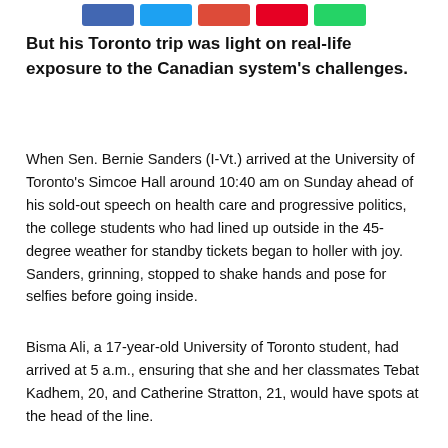[Figure (other): Row of social media share buttons: Facebook (blue), Twitter (light blue), Google+ (red-orange), Pinterest (red), WhatsApp (green)]
But his Toronto trip was light on real-life exposure to the Canadian system's challenges.
When Sen. Bernie Sanders (I-Vt.) arrived at the University of Toronto's Simcoe Hall around 10:40 am on Sunday ahead of his sold-out speech on health care and progressive politics, the college students who had lined up outside in the 45-degree weather for standby tickets began to holler with joy. Sanders, grinning, stopped to shake hands and pose for selfies before going inside.
Bisma Ali, a 17-year-old University of Toronto student, had arrived at 5 a.m., ensuring that she and her classmates Tebat Kadhem, 20, and Catherine Stratton, 21, would have spots at the head of the line.